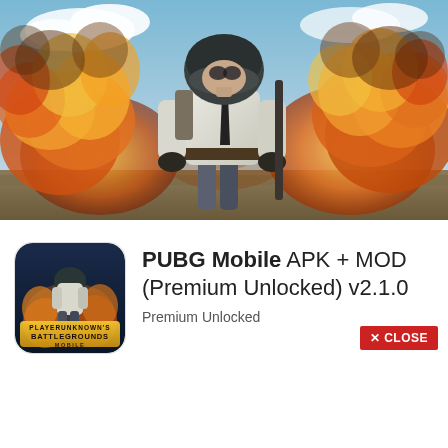[Figure (illustration): PUBG Mobile hero banner image showing a soldier in white shirt and tie standing in front of a large explosion with orange fire and smoke, holding a rifle, blue sky in background]
[Figure (logo): PUBG Mobile app icon showing a helmeted soldier against a dark blue background with golden BATTLEGROUNDS MOBILE text at the bottom]
PUBG Mobile APK + MOD (Premium Unlocked) v2.1.0
Premium Unlocked